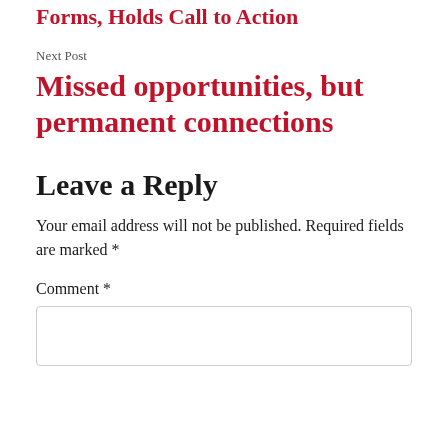Forms, Holds Call to Action
Next Post
Missed opportunities, but permanent connections
Leave a Reply
Your email address will not be published. Required fields are marked *
Comment *